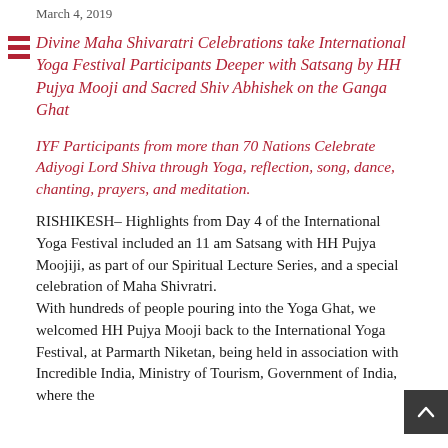March 4, 2019
Divine Maha Shivaratri Celebrations take International Yoga Festival Participants Deeper with Satsang by HH Pujya Mooji and Sacred Shiv Abhishek on the Ganga Ghat
IYF Participants from more than 70 Nations Celebrate Adiyogi Lord Shiva through Yoga, reflection, song, dance, chanting, prayers, and meditation.
RISHIKESH– Highlights from Day 4 of the International Yoga Festival included an 11 am Satsang with HH Pujya Moojiji, as part of our Spiritual Lecture Series, and a special celebration of Maha Shivratri. With hundreds of people pouring into the Yoga Ghat, we welcomed HH Pujya Mooji back to the International Yoga Festival, at Parmarth Niketan, being held in association with Incredible India, Ministry of Tourism, Government of India, where the